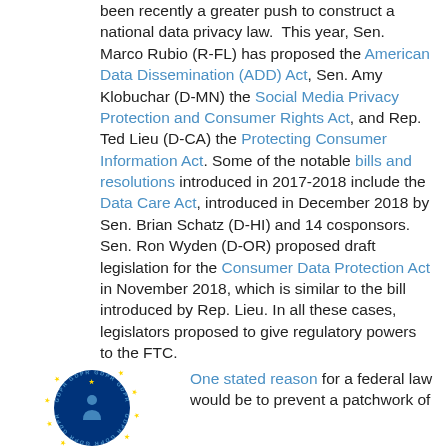been recently a greater push to construct a national data privacy law. This year, Sen. Marco Rubio (R-FL) has proposed the American Data Dissemination (ADD) Act, Sen. Amy Klobuchar (D-MN) the Social Media Privacy Protection and Consumer Rights Act, and Rep. Ted Lieu (D-CA) the Protecting Consumer Information Act. Some of the notable bills and resolutions introduced in 2017-2018 include the Data Care Act, introduced in December 2018 by Sen. Brian Schatz (D-HI) and 14 cosponsors. Sen. Ron Wyden (D-OR) proposed draft legislation for the Consumer Data Protection Act in November 2018, which is similar to the bill introduced by Rep. Lieu. In all these cases, legislators proposed to give regulatory powers to the FTC.
[Figure (logo): GDPR circular badge with EU stars and a person silhouette icon, dark blue background with yellow stars, text reading GDPR around the circle]
One stated reason for a federal law would be to prevent a patchwork of